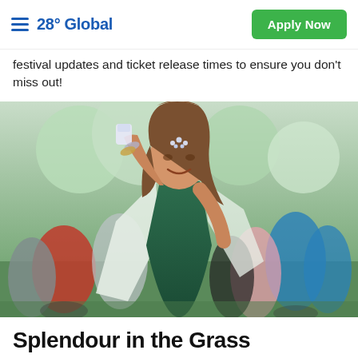28° Global | Apply Now
festival updates and ticket release times to ensure you don't miss out!
[Figure (photo): A young woman in a green deep-V dress with a sheer white cape, wearing crystal face gems, raising one arm and holding a glitter cup at an outdoor music festival. Colorful crowd and artistic structures visible in background.]
Splendour in the Grass